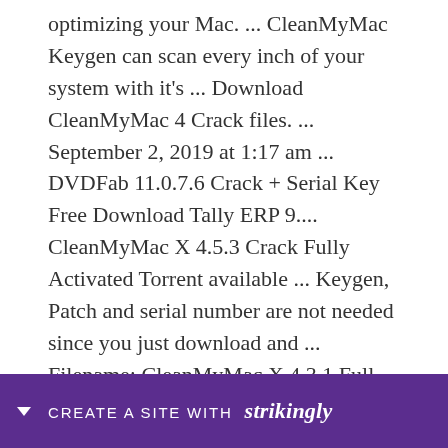optimizing your Mac. ... CleanMyMac Keygen can scan every inch of your system with it&#39;s ... Download CleanMyMac 4 Crack files. ... September 2, 2019 at 1:17 am ... DVDFab 11.0.7.6 Crack + Serial Key Free Download Tally ERP 9.... CleanMyMac X 4.5.3 Crack Fully Activated Torrent available ... Keygen, Patch and serial number are not needed since you just download and ... Filename: CleanMyMac X 4.3.1 Full Free.zip (Direct download) (Torrent file) ... CC 2015, Adobe CC 2017, Adobe CC 2018, Adobe CC 2019, Adobe CC 2020.... CleanMyMac X 4.3.0 Crack Keygen + Activation Number Free Download. CleanMyMac Crack ... key is an ... st
[Figure (other): Purple banner at bottom of page reading 'CREATE A SITE WITH strikingly' with a downward arrow on the left side]